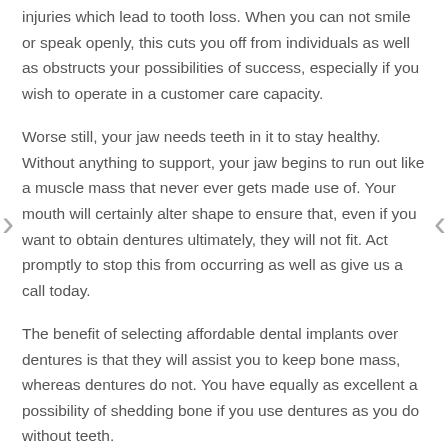injuries which lead to tooth loss. When you can not smile or speak openly, this cuts you off from individuals as well as obstructs your possibilities of success, especially if you wish to operate in a customer care capacity.
Worse still, your jaw needs teeth in it to stay healthy. Without anything to support, your jaw begins to run out like a muscle mass that never ever gets made use of. Your mouth will certainly alter shape to ensure that, even if you want to obtain dentures ultimately, they will not fit. Act promptly to stop this from occurring as well as give us a call today.
The benefit of selecting affordable dental implants over dentures is that they will assist you to keep bone mass, whereas dentures do not. You have equally as excellent a possibility of shedding bone if you use dentures as you do without teeth.
Even dentures could be positioned in your mouth semi-